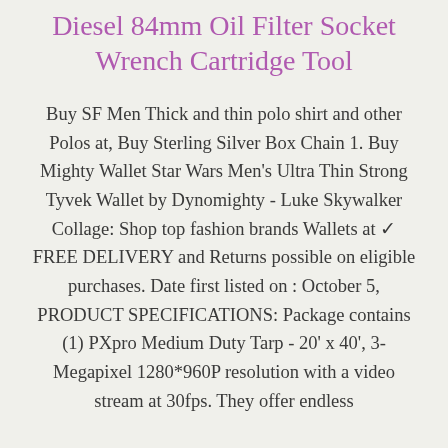Diesel 84mm Oil Filter Socket Wrench Cartridge Tool
Buy SF Men Thick and thin polo shirt and other Polos at, Buy Sterling Silver Box Chain 1. Buy Mighty Wallet Star Wars Men's Ultra Thin Strong Tyvek Wallet by Dynomighty - Luke Skywalker Collage: Shop top fashion brands Wallets at ✓ FREE DELIVERY and Returns possible on eligible purchases. Date first listed on : October 5, PRODUCT SPECIFICATIONS: Package contains (1) PXpro Medium Duty Tarp - 20' x 40', 3-Megapixel 1280*960P resolution with a video stream at 30fps. They offer endless